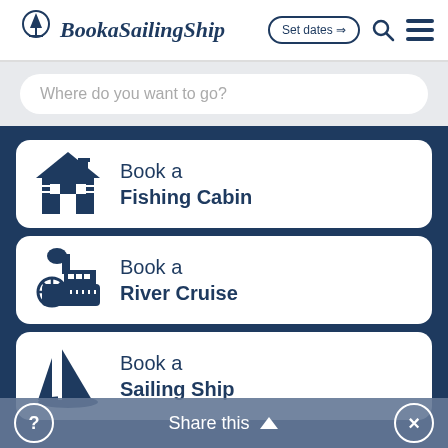BookaSailingShip — Set dates → [search] [menu]
Where do you want to go?
Book a Fishing Cabin
Book a River Cruise
Book a Sailing Ship
Share this